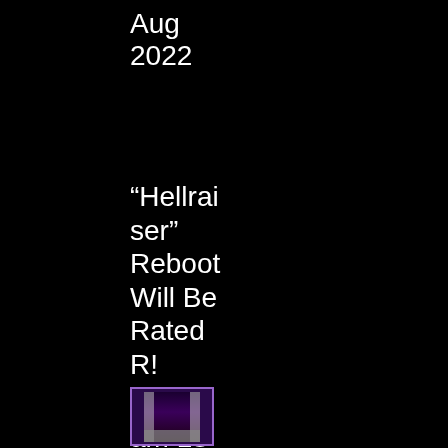Aug
2022
“Hellraiser” Reboot Will Be Rated R!
7:08 am 18 Aug 2022
[Figure (photo): Small thumbnail image of a Hellraiser movie poster or DVD cover with purple/dark tones and film strip style border]